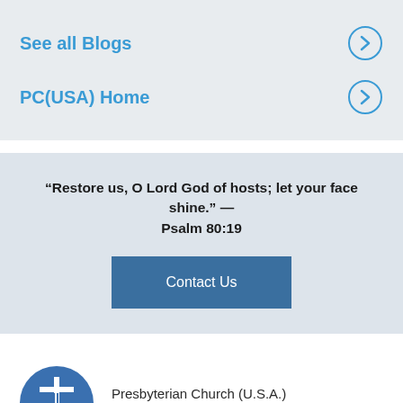See all Blogs
PC(USA) Home
“Restore us, O Lord God of hosts; let your face shine.” — Psalm 80:19
Contact Us
[Figure (logo): Presbyterian Church (U.S.A.) circular blue logo with cross and dove symbol]
Presbyterian Church (U.S.A.) Presbyterian Mission